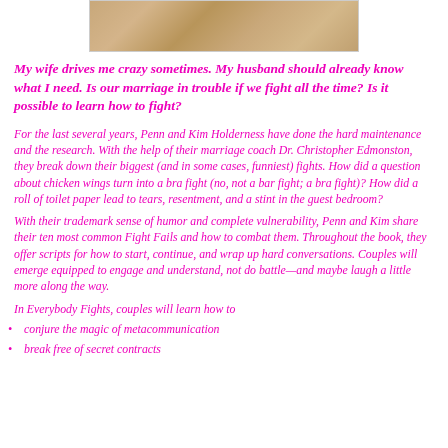[Figure (photo): Partial image of wood grain texture, cropped at top of page]
My wife drives me crazy sometimes. My husband should already know what I need. Is our marriage in trouble if we fight all the time? Is it possible to learn how to fight?
For the last several years, Penn and Kim Holderness have done the hard maintenance and the research. With the help of their marriage coach Dr. Christopher Edmonston, they break down their biggest (and in some cases, funniest) fights. How did a question about chicken wings turn into a bra fight (no, not a bar fight; a bra fight)? How did a roll of toilet paper lead to tears, resentment, and a stint in the guest bedroom?
With their trademark sense of humor and complete vulnerability, Penn and Kim share their ten most common Fight Fails and how to combat them. Throughout the book, they offer scripts for how to start, continue, and wrap up hard conversations. Couples will emerge equipped to engage and understand, not do battle—and maybe laugh a little more along the way.
In Everybody Fights, couples will learn how to
conjure the magic of metacommunication
break free of secret contracts